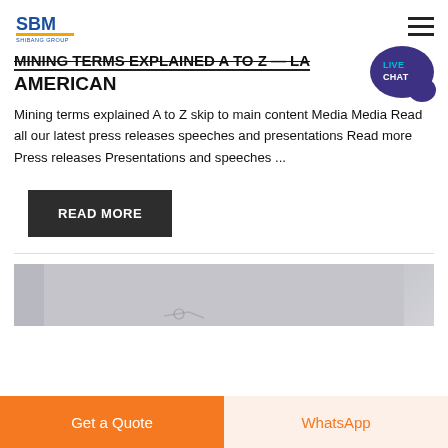SBM SHIBANG GROUP logo and navigation menu
MINING TERMS EXPLAINED A TO Z — LATIN AMERICAN
Mining terms explained A to Z skip to main content Media Media Read all our latest press releases speeches and presentations Read more Press releases Presentations and speeches ...
READ MORE
[Figure (photo): Partial image of machinery or mining equipment, gray/silver tones, partially visible at bottom of page]
Get a Quote
WhatsApp